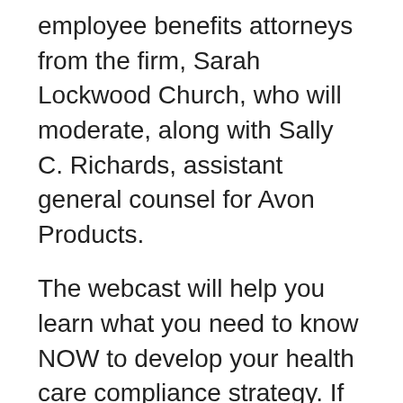employee benefits attorneys from the firm, Sarah Lockwood Church, who will moderate, along with Sally C. Richards, assistant general counsel for Avon Products.
The webcast will help you learn what you need to know NOW to develop your health care compliance strategy. If you are considering not providing coverage (or your coverage is inadequate), the presentation will help you assess your risks for penalties under the “pay or play” provision and offer practical advice for managing that risk. Other topics will include: